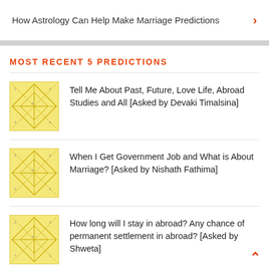How Astrology Can Help Make Marriage Predictions
MOST RECENT 5 PREDICTIONS
Tell Me About Past, Future, Love Life, Abroad Studies and All [Asked by Devaki Timalsina]
When I Get Government Job and What is About Marriage? [Asked by Nishath Fathima]
How long will I stay in abroad? Any chance of permanent settlement in abroad? [Asked by Shweta]